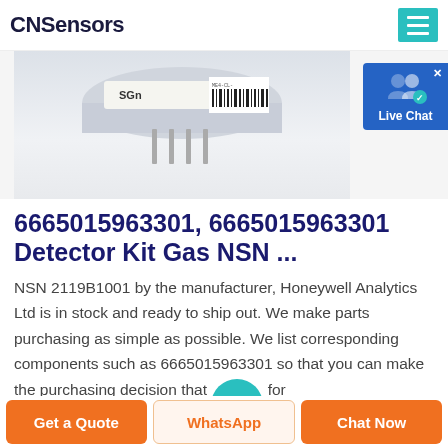CNSensors
[Figure (photo): A close-up photo of a gas detector sensor component labeled ME4-CL with a barcode, on a white background. Also visible: a Live Chat popup button with a blue background and person icons.]
6665015963301, 6665015963301 Detector Kit Gas NSN ...
NSN 2119B1001 by the manufacturer, Honeywell Analytics Ltd is in stock and ready to ship out. We make parts purchasing as simple as possible. We list corresponding components such as 6665015963301 so that you can make the purchasing decision that for